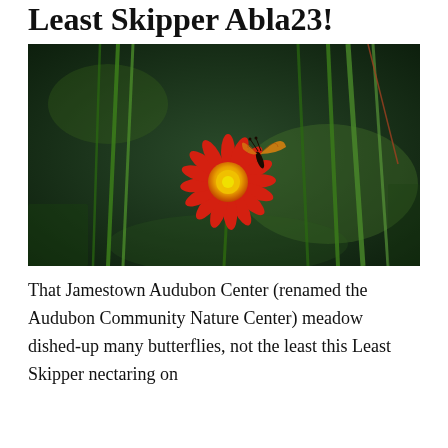Least Skipper Abla23!
[Figure (photo): A small orange skipper butterfly nectaring on a bright red-orange flower with yellow center, surrounded by green grass stems, against a dark green blurred background.]
That Jamestown Audubon Center (renamed the Audubon Community Nature Center) meadow dished-up many butterflies, not the least this Least Skipper nectaring on